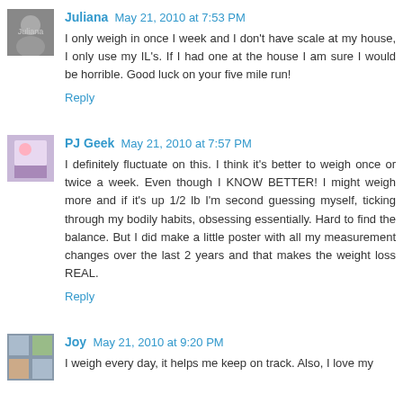[Figure (photo): Avatar photo of Juliana, black and white portrait]
Juliana May 21, 2010 at 7:53 PM
I only weigh in once I week and I don't have scale at my house, I only use my IL's. If I had one at the house I am sure I would be horrible. Good luck on your five mile run!
Reply
[Figure (photo): Avatar photo of PJ Geek, colorful image]
PJ Geek May 21, 2010 at 7:57 PM
I definitely fluctuate on this. I think it's better to weigh once or twice a week. Even though I KNOW BETTER! I might weigh more and if it's up 1/2 lb I'm second guessing myself, ticking through my bodily habits, obsessing essentially. Hard to find the balance. But I did make a little poster with all my measurement changes over the last 2 years and that makes the weight loss REAL.
Reply
[Figure (photo): Avatar photo of Joy, small portrait]
Joy May 21, 2010 at 9:20 PM
I weigh every day, it helps me keep on track. Also, I love my